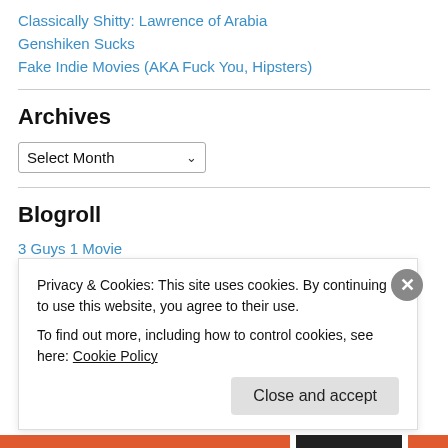Classically Shitty: Lawrence of Arabia
Genshiken Sucks
Fake Indie Movies (AKA Fuck You, Hipsters)
Archives
Select Month
Blogroll
3 Guys 1 Movie
Blog Catalog
Privacy & Cookies: This site uses cookies. By continuing to use this website, you agree to their use.
To find out more, including how to control cookies, see here: Cookie Policy
Close and accept